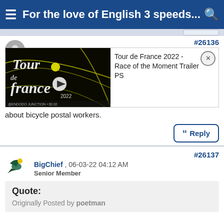For the love of English 3 speeds...
[Figure (screenshot): Tour de France 2022 - Race of the Moment Trailer PS video thumbnail with dark background and Tour de France logo]
Tour de France 2022 - Race of the Moment Trailer PS
about bicycle postal workers.
#26137
[Figure (logo): BigChief user avatar - stylized bird logo in blue and yellow]
BigChief , 06-03-22 04:12 AM
Senior Member
Quote:
Originally Posted by poetman